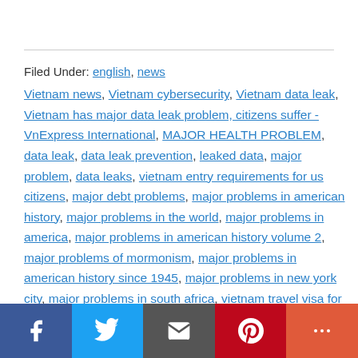Filed Under: english, news
Vietnam news, Vietnam cybersecurity, Vietnam data leak, Vietnam has major data leak problem, citizens suffer - VnExpress International, MAJOR HEALTH PROBLEM, data leak, data leak prevention, leaked data, major problem, data leaks, vietnam entry requirements for us citizens, major debt problems, major problems in american history, major problems in the world, major problems in america, major problems in american history volume 2, major problems of mormonism, major problems in american history since 1945, major problems in new york city, major problems in south africa, vietnam travel visa for us citizens, vietnam visas
Social share bar: Facebook, Twitter, Email, Pinterest, More